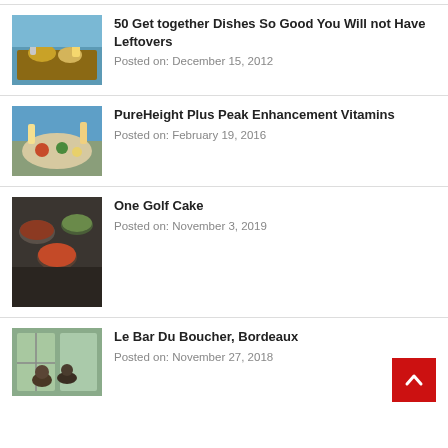[Figure (photo): Food on a table, drinks and dishes outdoors]
50 Get together Dishes So Good You Will not Have Leftovers
Posted on: December 15, 2012
[Figure (photo): Platter of appetizers and drinks]
PureHeight Plus Peak Enhancement Vitamins
Posted on: February 19, 2016
[Figure (photo): Bowls of various foods and a knife on a dark surface]
One Golf Cake
Posted on: November 3, 2019
[Figure (photo): People sitting at a bar or restaurant]
Le Bar Du Boucher, Bordeaux
Posted on: November 27, 2018